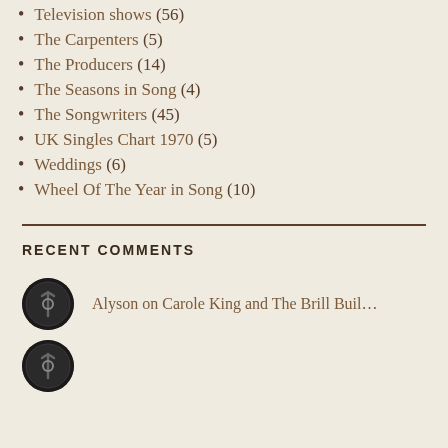Television shows (56)
The Carpenters (5)
The Producers (14)
The Seasons in Song (4)
The Songwriters (45)
UK Singles Chart 1970 (5)
Weddings (6)
Wheel Of The Year in Song (10)
RECENT COMMENTS
Alyson on Carole King and The Brill Buil…